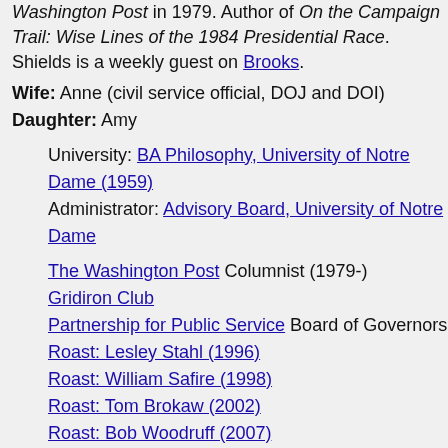Washington Post in 1979. Author of On the Campaign Trail: Wise Lines of the 1984 Presidential Race. Shields is a weekly guest on Brooks.
Wife: Anne (civil service official, DOJ and DOI)
Daughter: Amy
University: BA Philosophy, University of Notre Dame (1959)
Administrator: Advisory Board, University of Notre Dame
The Washington Post Columnist (1979-)
Gridiron Club
Partnership for Public Service Board of Governors
Roast: Lesley Stahl (1996)
Roast: William Safire (1998)
Roast: Tom Brokaw (2002)
Roast: Bob Woodruff (2007)
TELEVISION
PBS NewsHour Commentator, Shields and Brooks (1988-)
The Capital Gang Panelist
Crossfire
FILMOGRAPHY AS ACTOR
The Last Debate (5-Nov-2000) · Himself
Running Mates (13-Aug-2000) · Himself